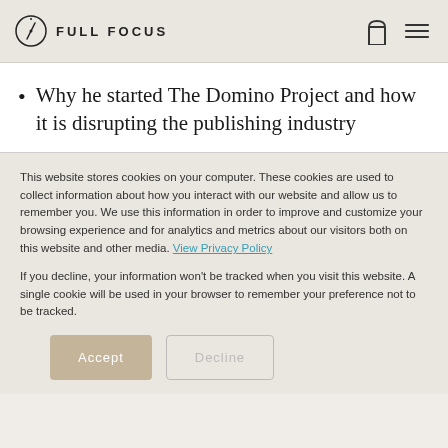FULL FOCUS
Why he started The Domino Project and how it is disrupting the publishing industry
This website stores cookies on your computer. These cookies are used to collect information about how you interact with our website and allow us to remember you. We use this information in order to improve and customize your browsing experience and for analytics and metrics about our visitors both on this website and other media. View Privacy Policy
If you decline, your information won't be tracked when you visit this website. A single cookie will be used in your browser to remember your preference not to be tracked.